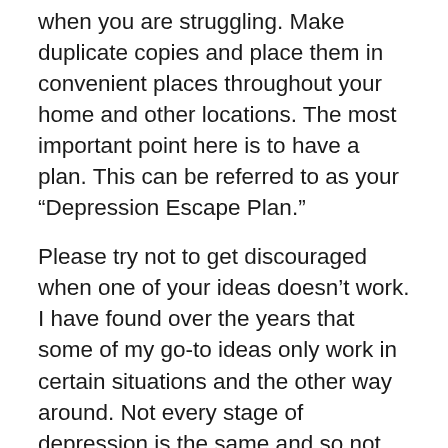when you are struggling. Make duplicate copies and place them in convenient places throughout your home and other locations. The most important point here is to have a plan. This can be referred to as your “Depression Escape Plan.”
Please try not to get discouraged when one of your ideas doesn’t work. I have found over the years that some of my go-to ideas only work in certain situations and the other way around. Not every stage of depression is the same and so not every idea is going to work in every situation.
Don’t worry! As I’m sharing this with everyone, I am also reminding myself. The struggle is real and the work is hard. But, my depression and I